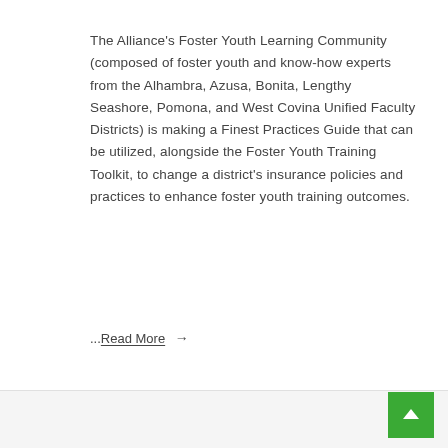The Alliance's Foster Youth Learning Community (composed of foster youth and know-how experts from the Alhambra, Azusa, Bonita, Lengthy Seashore, Pomona, and West Covina Unified Faculty Districts) is making a Finest Practices Guide that can be utilized, alongside the Foster Youth Training Toolkit, to change a district's insurance policies and practices to enhance foster youth training outcomes.
...Read More →
Ready Meals